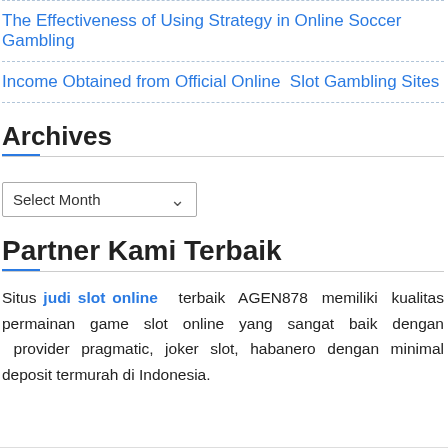The Effectiveness of Using Strategy in Online Soccer Gambling
Income Obtained from Official Online Slot Gambling Sites
Archives
Select Month
Partner Kami Terbaik
Situs judi slot online terbaik AGEN878 memiliki kualitas permainan game slot online yang sangat baik dengan provider pragmatic, joker slot, habanero dengan minimal deposit termurah di Indonesia.